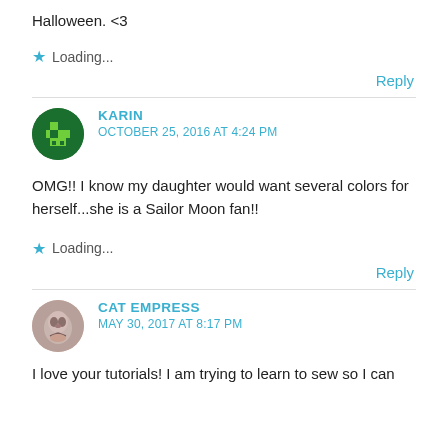Halloween. <3
★ Loading...
Reply
KARIN
OCTOBER 25, 2016 AT 4:24 PM
OMG!! I know my daughter would want several colors for herself...she is a Sailor Moon fan!!
★ Loading...
Reply
CAT EMPRESS
MAY 30, 2017 AT 8:17 PM
I love your tutorials! I am trying to learn to sew so I can